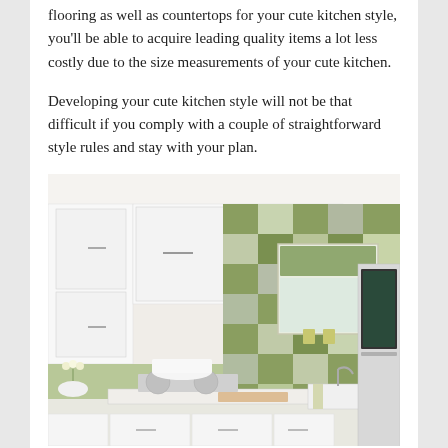flooring as well as countertops for your cute kitchen style, you’ll be able to acquire leading quality items a lot less costly due to the size measurements of your cute kitchen.
Developing your cute kitchen style will not be that difficult if you comply with a couple of straightforward style rules and stay with your plan.
[Figure (photo): A bright white modern kitchen with white flat-panel cabinets, a colorful green and grey checkered tile backsplash covering the walls, a window with a green roman shade, a kitchen island with marble-style countertop, and stainless steel appliances including an oven on the right side.]